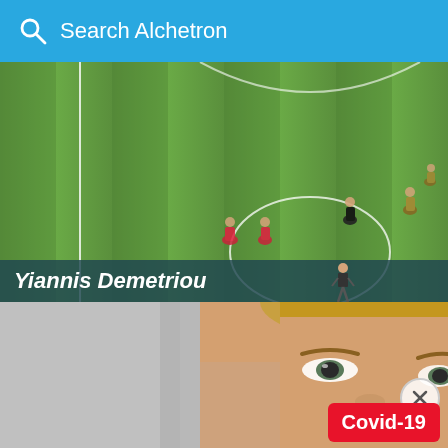Search Alchetron
[Figure (photo): Soccer/football match aerial view showing players on a green grass field with white markings. Players in various colored kits visible, one referee in black.]
Yiannis Demetriou
[Figure (photo): Close-up photo of a blonde woman's face showing her eyes. Gray background on left side. A circular close button (X) and a red Covid-19 badge are overlaid in the bottom right.]